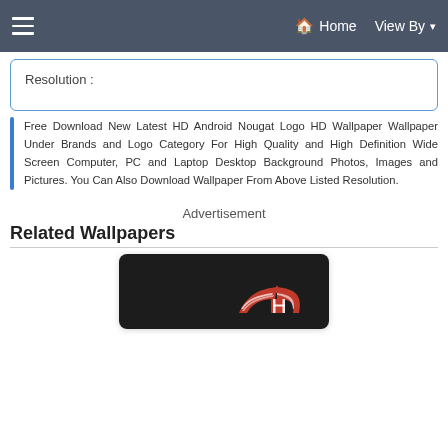☰   🏠 Home  View By ▾
Resolution :
Free Download New Latest HD Android Nougat Logo HD Wallpaper Wallpaper Under Brands and Logo Category For High Quality and High Definition Wide Screen Computer, PC and Laptop Desktop Background Photos, Images and Pictures. You Can Also Download Wallpaper From Above Listed Resolution.
Advertisement
Related Wallpapers
[Figure (photo): Dark background with Honda wing logo (red and white winged emblem) partially visible at bottom of image card]